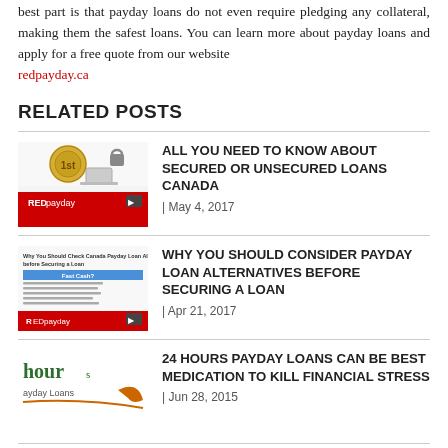best part is that payday loans do not even require pledging any collateral, making them the safest loans. You can learn more about payday loans and apply for a free quote from our website redpayday.ca
RELATED POSTS
ALL YOU NEED TO KNOW ABOUT SECURED OR UNSECURED LOANS CANADA | May 4, 2017
WHY YOU SHOULD CONSIDER PAYDAY LOAN ALTERNATIVES BEFORE SECURING A LOAN | Apr 21, 2017
24 HOURS PAYDAY LOANS CAN BE BEST MEDICATION TO KILL FINANCIAL STRESS | Jun 28, 2015
PAYDAY LOANS ONLINE NO CREDIT CHECK INSTANT APPROVAL